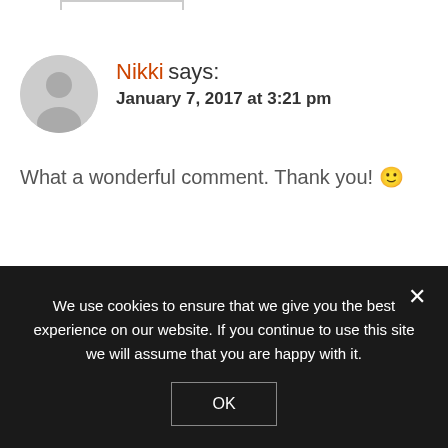[Figure (illustration): Partial top border of a comment box]
Nikki says:
January 7, 2017 at 3:21 pm
What a wonderful comment. Thank you! 🙂
Reply
[Figure (photo): Tilly travel avatar photo showing a cat]
Tilly travel says:
January 2, 2017 at 8:10 am
We use cookies to ensure that we give you the best experience on our website. If you continue to use this site we will assume that you are happy with it.
OK